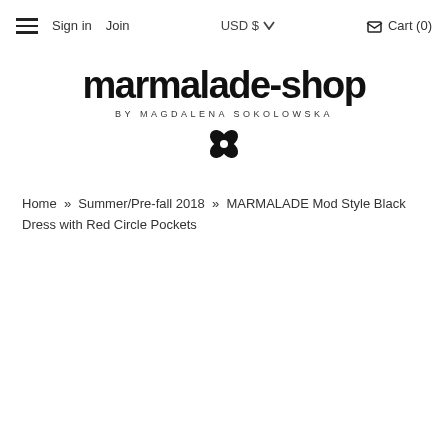≡  Sign in  Join  USD $  Cart (0)
[Figure (logo): marmalade-shop logo with text 'BY MAGDALENA SOKOLOWSKA' and a four-leaf clover icon]
Home » Summer/Pre-fall 2018 » MARMALADE Mod Style Black Dress with Red Circle Pockets